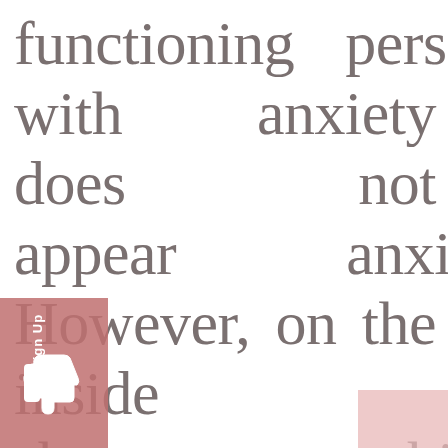functioning person with anxiety does not appear anxious. However, on the inside she overthinks everything and often believes she can't measure up. She's filled with self-doubt and has difficulty